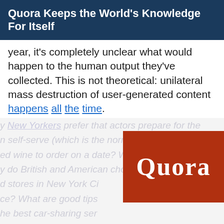Quora Keeps the World's Knowledge For Itself
year, it's completely unclear what would happen to the human output they've collected. This is not theoretical: unilateral mass destruction of user-generated content happens all the time.
[Figure (screenshot): Background of Quora questions in gray italic text with a red Quora logo box overlay showing 'Quora' in white text and bold tagline 'Your best source for kno...']